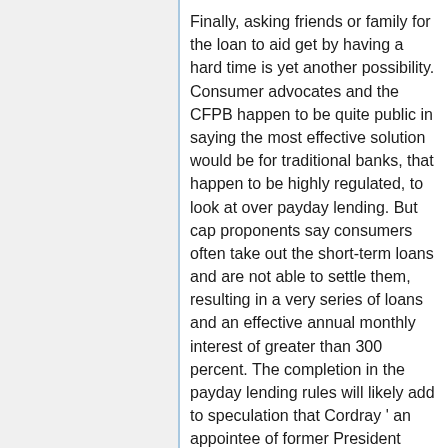Finally, asking friends or family for the loan to aid get by having a hard time is yet another possibility. Consumer advocates and the CFPB happen to be quite public in saying the most effective solution would be for traditional banks, that happen to be highly regulated, to look at over payday lending. But cap proponents say consumers often take out the short-term loans and are not able to settle them, resulting in a very series of loans and an effective annual monthly interest of greater than 300 percent. The completion in the payday lending rules will likely add to speculation that Cordray ' an appointee of former President Barack Obama ' is overall his top priorities in planning for running for governor being a Democrat as part of his home state of Ohio. They are